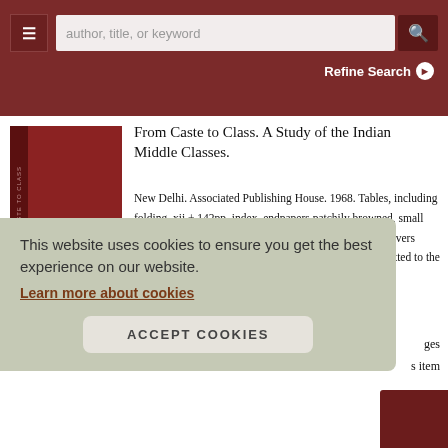author, title, or keyword | Refine Search
[Figure (photo): Red cloth-bound book cover with spine text reading 'FROM CASTE TO CLASS']
From Caste to Class. A Study of the Indian Middle Classes.
New Delhi. Associated Publishing House. 1968. Tables, including folding, xii + 142pp, index, endpapers patchily browned, small bookseller's label upper pastedown, spine faded, cloth covers patchily faded. Originally formed thesis for Ph.D. submitted to the University of Agra.
ges
s item
This website uses cookies to ensure you get the best experience on our website.
Learn more about cookies
ACCEPT COOKIES